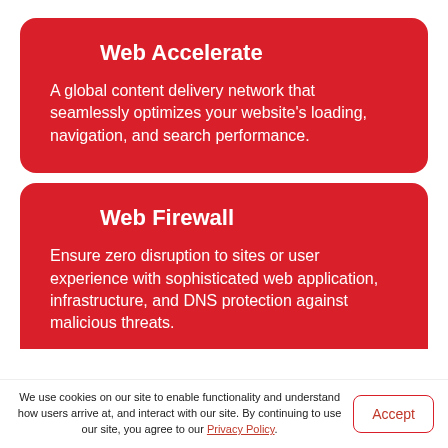Web Accelerate
A global content delivery network that seamlessly optimizes your website's loading, navigation, and search performance.
Web Firewall
Ensure zero disruption to sites or user experience with sophisticated web application, infrastructure, and DNS protection against malicious threats.
We use cookies on our site to enable functionality and understand how users arrive at, and interact with our site. By continuing to use our site, you agree to our Privacy Policy.